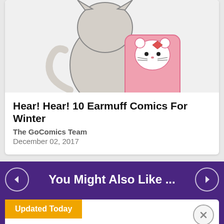[Figure (illustration): Comic illustration of a cat character carrying a pink Hello Kitty backpack, viewed from behind]
Hear! Hear! 10 Earmuff Comics For Winter
The GoComics Team
December 02, 2017
You Might Also Like ...
Updated Today
Apply, Shop & Save Today
Banana Republic
APPLY NOW